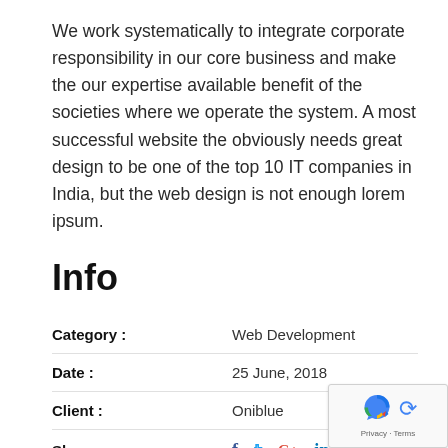We work systematically to integrate corporate responsibility in our core business and make the our expertise available benefit of the societies where we operate the system. A most successful website the obviously needs great design to be one of the top 10 IT companies in India, but the web design is not enough lorem ipsum.
Info
| Category : | Web Development |
| Date : | 25 June, 2018 |
| Client : | Oniblue |
| Share : | f  𝕥  G+  in |